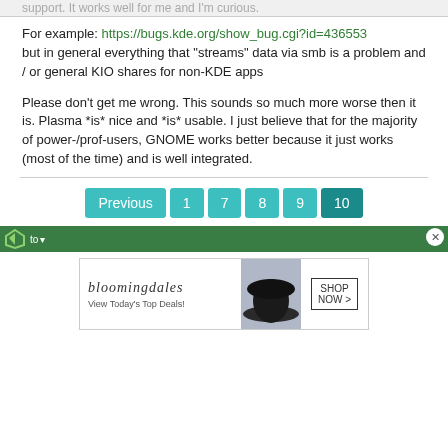support. It works well for me and I'm curious.
For example: https://bugs.kde.org/show_bug.cgi?id=436553 but in general everything that "streams" data via smb is a problem and / or general KIO shares for non-KDE apps
Please don't get me wrong. This sounds so much more worse then it is. Plasma *is* nice and *is* usable. I just believe that for the majority of power-/prof-users, GNOME works better because it just works (most of the time) and is well integrated.
[Figure (screenshot): Pagination buttons: Previous, 1, 7, 8, 9, 10]
[Figure (screenshot): Green ad bar with logo and close button]
[Figure (screenshot): Bloomingdale's advertisement banner: View Today's Top Deals! SHOP NOW >]